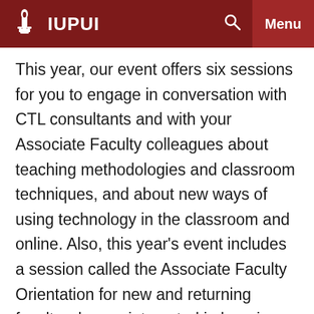IU IUPUI [search icon] Menu
This year, our event offers six sessions for you to engage in conversation with CTL consultants and with your Associate Faculty colleagues about teaching methodologies and classroom techniques, and about new ways of using technology in the classroom and online. Also, this year's event includes a session called the Associate Faculty Orientation for new and returning faculty who are interested in learning about resources that IUPUI makes available to support your work. Sessions are designed to encourage discussion and the sharing of ideas among